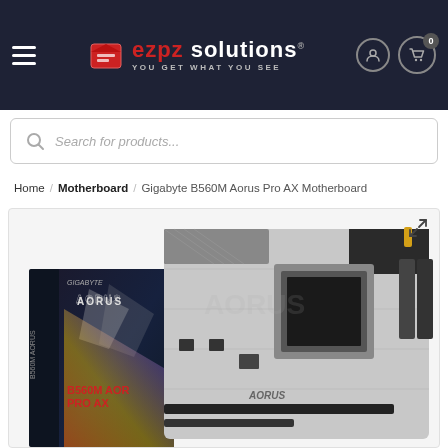EZPZ Solutions — you get what you see
Search for products...
Home / Motherboard / Gigabyte B560M Aorus Pro AX Motherboard
[Figure (photo): Product photo of Gigabyte B560M Aorus Pro AX Motherboard alongside its retail box with AORUS branding]